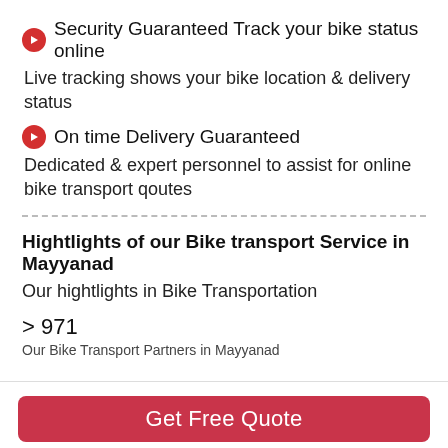Security Guaranteed Track your bike status online
Live tracking shows your bike location & delivery status
On time Delivery Guaranteed
Dedicated & expert personnel to assist for online bike transport qoutes
Hightlights of our Bike transport Service in Mayyanad
Our hightlights in Bike Transportation
> 971
Our Bike Transport Partners in Mayyanad
Get Free Quote